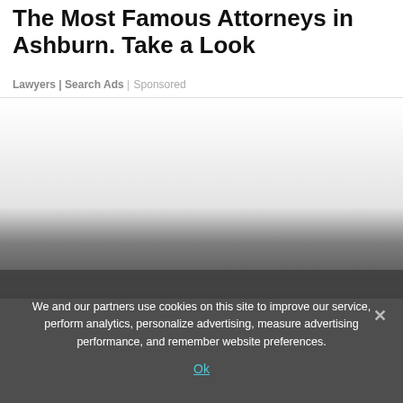The Most Famous Attorneys in Ashburn. Take a Look
Lawyers | Search Ads | Sponsored
[Figure (photo): Partially visible image below the title and source line, fading to dark gradient at the bottom.]
We and our partners use cookies on this site to improve our service, perform analytics, personalize advertising, measure advertising performance, and remember website preferences.
Ok